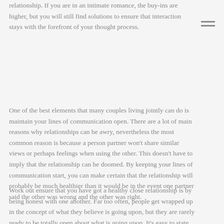relationship. If you are in an intimate romance, the buy-ins are higher, but you will still find solutions to ensure that interaction stays with the forefront of your thought process.
One of the best elements that many couples living jointly can do is maintain your lines of communication open. There are a lot of main reasons why relationships can be awry, nevertheless the most common reason is because a person partner won't share similar views or perhaps feelings when using the other. This doesn't have to imply that the relationship can be doomed. By keeping your lines of communication start, you can make certain that the relationship will probably be much healthier than it would be in the event one partner said the other was wrong and the other was right.
Work out ensure that you have got a healthy close relationship is by being honest with one another. Far too often, people get wrapped up in the concept of what they believe is going upon, but they are rarely ready to be totally open about what is going upon. It's easy to state you'll contact if a certain thing, but how do you know when you really suitable it? Currently being honest